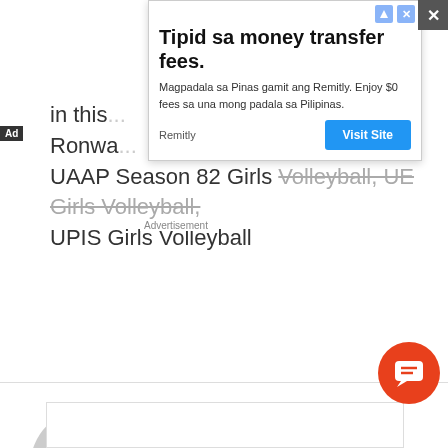in this... Ronwa... UAAP Season 82 Girls Volleyball, UE Girls Volleyball, UPIS Girls Volleyball
[Figure (screenshot): Advertisement overlay: 'Tipid sa money transfer fees.' - Remitly ad with Visit Site button and close button]
WRITTEN BY
Tiebreaker Times
[Figure (other): Orange chat/comment button (floating action button) in bottom right corner]
[Figure (other): Bottom partial white box with border]